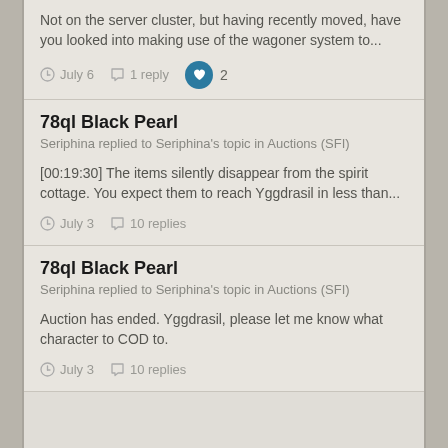Not on the server cluster, but having recently moved, have you looked into making use of the wagoner system to...
July 6   1 reply   2
78ql Black Pearl
Seriphina replied to Seriphina's topic in Auctions (SFI)
[00:19:30] The items silently disappear from the spirit cottage. You expect them to reach Yggdrasil in less than...
July 3   10 replies
78ql Black Pearl
Seriphina replied to Seriphina's topic in Auctions (SFI)
Auction has ended. Yggdrasil, please let me know what character to COD to.
July 3   10 replies